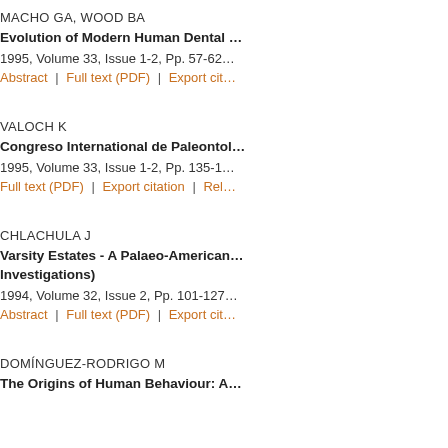MACHO GA, WOOD BA
Evolution of Modern Human Dental ...
1995, Volume 33, Issue 1-2, Pp. 57-62...
Abstract | Full text (PDF) | Export cit...
VALOCH K
Congreso International de Paleontol...
1995, Volume 33, Issue 1-2, Pp. 135-1...
Full text (PDF) | Export citation | Rel...
CHLACHULA J
Varsity Estates - A Palaeo-American... Investigations)
1994, Volume 32, Issue 2, Pp. 101-127...
Abstract | Full text (PDF) | Export cit...
DOMÍNGUEZ-RODRIGO M
The Origins of Human Behaviour: A...